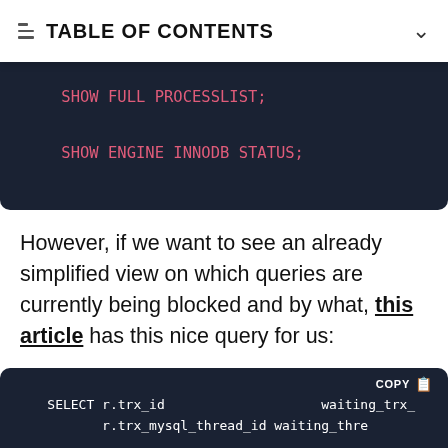TABLE OF CONTENTS
[Figure (screenshot): Dark code block showing SQL commands: SHOW FULL PROCESSLIST; and SHOW ENGINE INNODB STATUS; in pink/red monospace text on dark navy background]
However, if we want to see an already simplified view on which queries are currently being blocked and by what, this article has this nice query for us:
[Figure (screenshot): Dark code block showing beginning of SQL SELECT query: SELECT r.trx_id waiting_trx_ and r.trx_mysql_thread_id waiting_thre on dark navy background with white monospace text. Has COPY button in top right.]